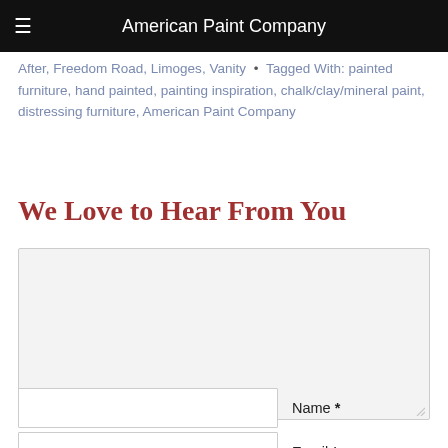American Paint Company
After, Freedom Road, Limoges, Vanity • Tagged With: painted furniture, hand painted, painting inspiration, chalk/clay/mineral paint, distressing furniture, American Paint Company
We Love to Hear From You
[Figure (other): Large comment/message text area input box with light gray background and resize handle]
Name *
Email *